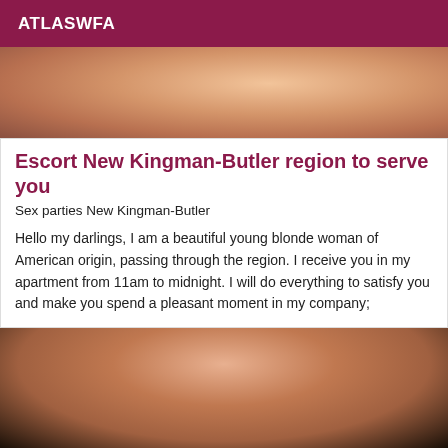ATLASWFA
[Figure (photo): Partial photo cropped at top, showing skin tones and fabric textures]
Escort New Kingman-Butler region to serve you
Sex parties New Kingman-Butler
Hello my darlings, I am a beautiful young blonde woman of American origin, passing through the region. I receive you in my apartment from 11am to midnight. I will do everything to satisfy you and make you spend a pleasant moment in my company;
[Figure (photo): Partial photo at bottom showing skin tones and dark fabric]